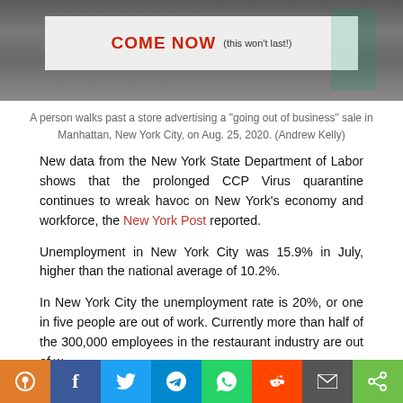[Figure (photo): A person walking past a store with a 'going out of business' sale sign in red letters in Manhattan, New York City.]
A person walks past a store advertising a "going out of business" sale in Manhattan, New York City, on Aug. 25, 2020. (Andrew Kelly)
New data from the New York State Department of Labor shows that the prolonged CCP Virus quarantine continues to wreak havoc on New York's economy and workforce, the New York Post reported.
Unemployment in New York City was 15.9% in July, higher than the national average of 10.2%.
In New York City the unemployment rate is 20%, or one in five people are out of work. Currently more than half of the 300,000 employees in the restaurant industry are out of w...